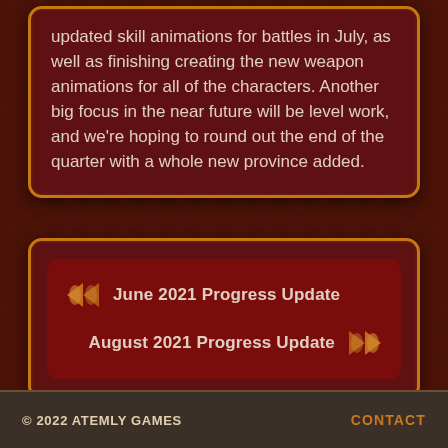updated skill animations for battles in July, as well as finishing creating the new weapon animations for all of the characters. Another big focus in the near future will be level work, and we're hoping to round out the end of the quarter with a whole new province added.
June 2021 Progress Update
August 2021 Progress Update
© 2022 ATEMLY GAMES    CONTACT